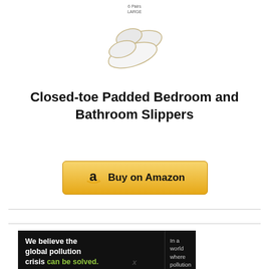[Figure (photo): White closed-toe slippers shown from above with label reading '6 Pairs LARGE']
Closed-toe Padded Bedroom and Bathroom Slippers
[Figure (other): Amazon 'Buy on Amazon' button with Amazon logo]
[Figure (other): Pure Earth advertisement banner: 'We believe the global pollution crisis can be solved. In a world where pollution doesn't stop at borders, we can all be part of the solution. JOIN US.' with Pure Earth logo]